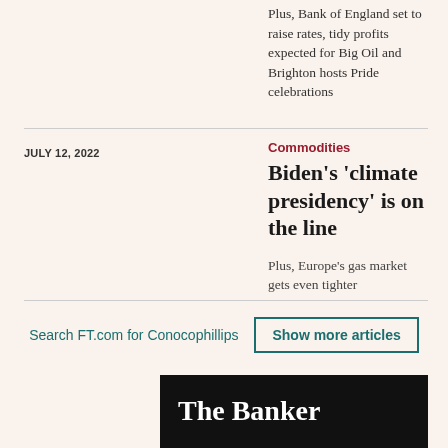Plus, Bank of England set to raise rates, tidy profits expected for Big Oil and Brighton hosts Pride celebrations
Commodities
Biden's 'climate presidency' is on the line
Plus, Europe's gas market gets even tighter
JULY 12, 2022
Search FT.com for Conocophillips
Show more articles
[Figure (illustration): The Banker advertisement banner with black background, red triangle, white bold title 'The Banker' and italic text 'Intelligence you can bank on']